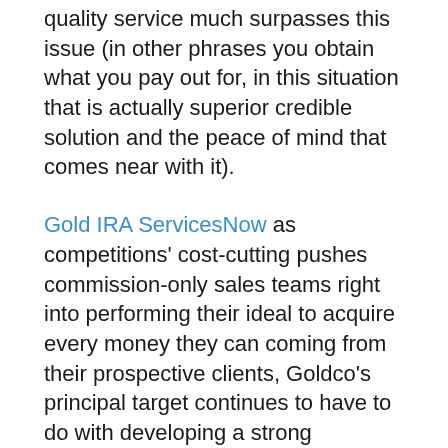quality service much surpasses this issue (in other phrases you obtain what you pay out for, in this situation that is actually superior credible solution and the peace of mind that comes near with it).
Gold IRA ServicesNow as competitions' cost-cutting pushes commission-only sales teams right into performing their ideal to acquire every money they can coming from their prospective clients, Goldco's principal target continues to have to do with developing a strong customer-centric crew of specialists that are paid for fairly and also extremely valued for the metals expertise as well as knowledge they give the table on your behalf.